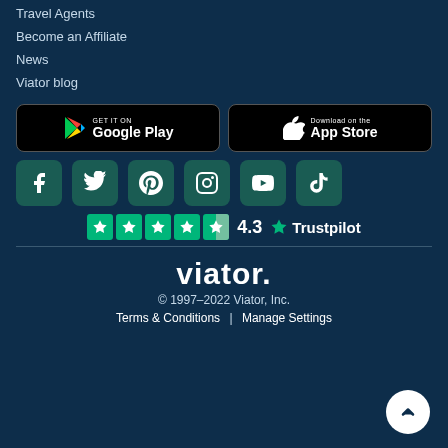Travel Agents
Become an Affiliate
News
Viator blog
[Figure (other): Google Play store download button]
[Figure (other): Apple App Store download button]
[Figure (other): Social media icons: Facebook, Twitter, Pinterest, Instagram, YouTube, TikTok]
[Figure (other): Trustpilot rating: 4.3 stars out of 5]
[Figure (logo): Viator logo]
© 1997–2022 Viator, Inc.
Terms & Conditions | Manage Settings